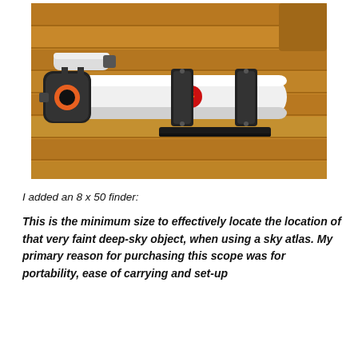[Figure (photo): A white refractor telescope tube with black focuser, finder scope bracket, and two black tube rings, lying on a wooden deck surface. The telescope has a red logo on the body.]
I added an 8 x 50 finder:
This is the minimum size to effectively locate the location of that very faint deep-sky object, when using a sky atlas. My primary reason for purchasing this scope was for portability, ease of carrying and set-up